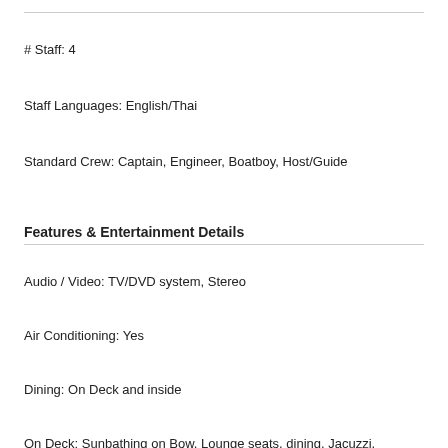# Staff: 4
Staff Languages: English/Thai
Standard Crew: Captain, Engineer, Boatboy, Host/Guide
Features & Entertainment Details
Audio / Video: TV/DVD system, Stereo
Air Conditioning: Yes
Dining: On Deck and inside
On Deck: Sunbathing on Bow, Lounge seats, dining, Jacuzzi,